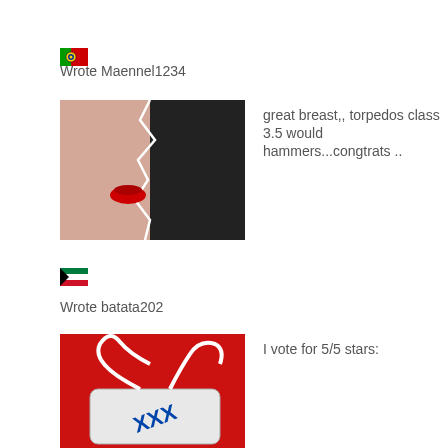[Figure (illustration): Portugal flag emoji icon, small square flag]
Wrote Maennel1234
[Figure (photo): Close-up photo of two faces in profile with stylized black and white graphic design overlay, lips visible]
great breast,, torpedos class 3.5 would hammers...congtrats ..
[Figure (illustration): Kuwait flag emoji icon, small square flag]
Wrote batata202
[Figure (photo): Photo of a USB drive labeled XXX on a red background with white cord]
I vote for 5/5 stars: